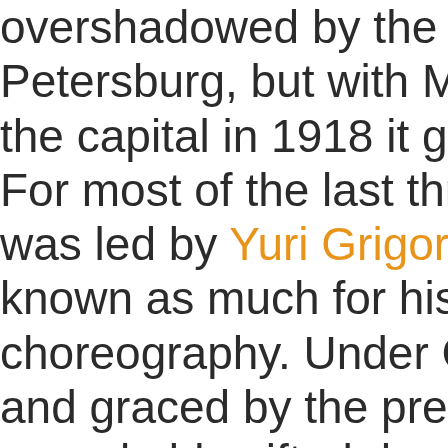overshadowed by the Mariinsky T Petersburg, but with Moscow's res the capital in 1918 it gained preem For most of the last three decades was led by Yuri Grigorovich, an ar known as much for his accomplish choreography. Under Grigorovich' and graced by the presence of a s remarkably gifted dancers, the Bo